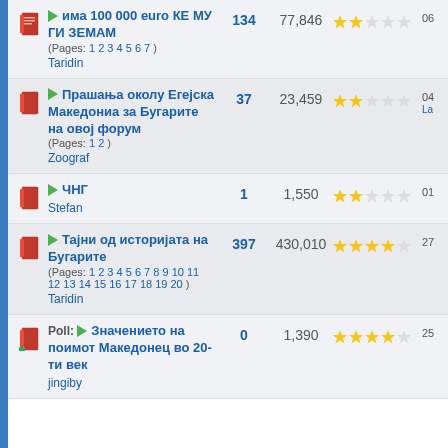има 100 000 euro КЕ МУ ГИ ЗЕМАМ (Pages: 1 2 3 4 5 6 7) Taridin | Replies: 134 | Views: 77,846 | Rating: 2/5
Прашања околу Егејска Македониа за Бугарите на овој форум (Pages: 1 2) Zoograf | Replies: 37 | Views: 23,459 | Rating: 2/5
ЧНГ Stefan | Replies: 1 | Views: 1,550 | Rating: 2/5
Тајни од историјата на Бугарите (Pages: 1 2 3 4 5 6 7 8 9 10 11 12 13 14 15 16 17 18 19 20) Taridin | Replies: 397 | Views: 430,010 | Rating: 4/5
Poll: Значението на поимот Македонец во 20-ти век jingiby | Replies: 0 | Views: 1,390 | Rating: 4/5